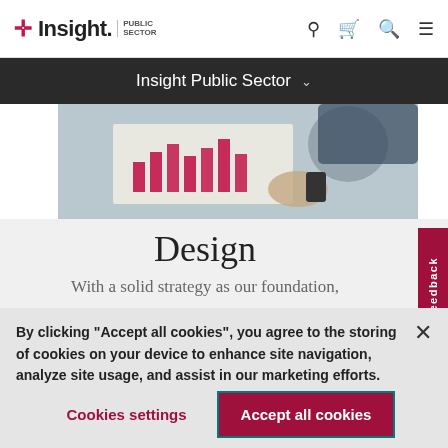Insight Public Sector — website header with logo and navigation icons
[Figure (screenshot): Dark navigation bar with 'Insight Public Sector' dropdown text]
[Figure (photo): Photo of people at a desk with chart/graph printouts showing red bar charts]
Design
With a solid strategy as our foundation,
By clicking “Accept all cookies”, you agree to the storing of cookies on your device to enhance site navigation, analyze site usage, and assist in our marketing efforts.
Cookies settings
Accept all cookies